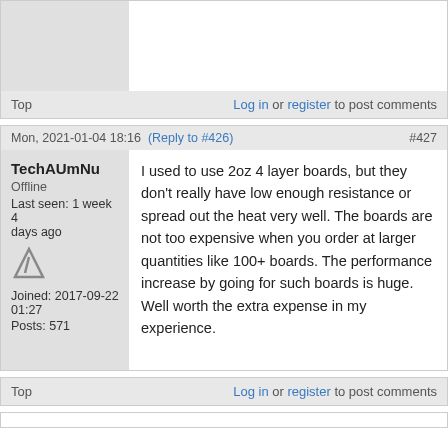[Figure (other): Gray avatar/image placeholder box at top of page]
Top   Log in or register to post comments
Mon, 2021-01-04 18:16  (Reply to #426)  #427
TechAUmNu
Offline
Last seen: 1 week 4 days ago
Joined: 2017-09-22 01:27
Posts: 571
I used to use 2oz 4 layer boards, but they don't really have low enough resistance or spread out the heat very well. The boards are not too expensive when you order at larger quantities like 100+ boards. The performance increase by going for such boards is huge. Well worth the extra expense in my experience.
Top   Log in or register to post comments